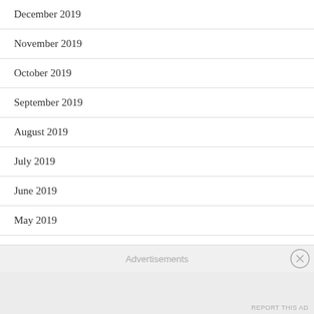December 2019
November 2019
October 2019
September 2019
August 2019
July 2019
June 2019
May 2019
April 2019
March 2019
February 2019
January 2019
Advertisements
REPORT THIS AD